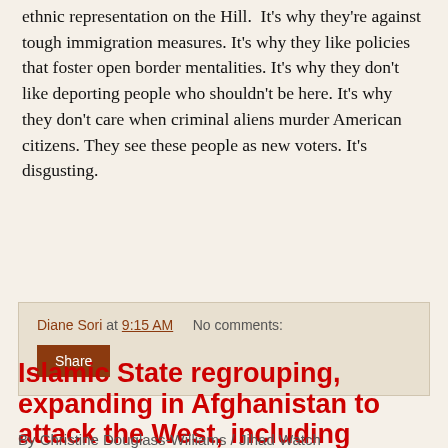ethnic representation on the Hill. It's why they're against tough immigration measures. It's why they like policies that foster open border mentalities. It's why they don't like deporting people who shouldn't be here. It's why they don't care when criminal aliens murder American citizens. They see these people as new voters. It's disgusting.
Diane Sori at 9:15 AM    No comments:
Share
Islamic State regrouping, expanding in Afghanistan to attack the West, including America
By Christine Douglass-Williams / Jihad Watch
The American and Afghan governments have warned